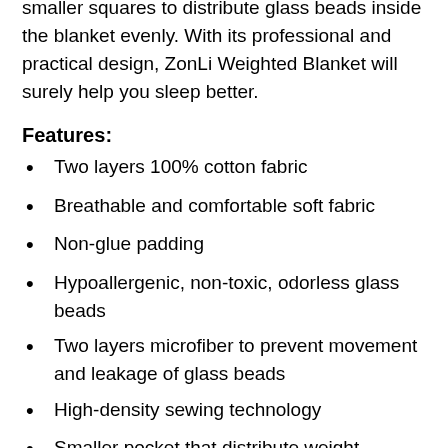smaller squares to distribute glass beads inside the blanket evenly. With its professional and practical design, ZonLi Weighted Blanket will surely help you sleep better.
Features:
Two layers 100% cotton fabric
Breathable and comfortable soft fabric
Non-glue padding
Hypoallergenic, non-toxic, odorless glass beads
Two layers microfiber to prevent movement and leakage of glass beads
High-density sewing technology
Smaller pocket that distribute weight